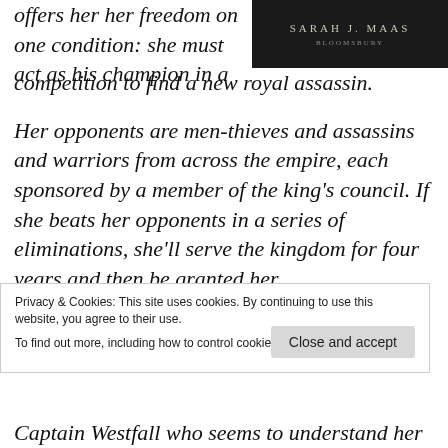[Figure (illustration): Book cover with dark background showing author name SARAH J. MAAS and publisher BLOOMSBURY in light text]
offers her her freedom on one condition: she must act as his champion in a competition to find a new royal assassin.

Her opponents are men-thieves and assassins and warriors from across the empire, each sponsored by a member of the king's council. If she beats her opponents in a series of eliminations, she'll serve the kingdom for four years and then be granted her
Privacy & Cookies: This site uses cookies. By continuing to use this website, you agree to their use.
To find out more, including how to control cookies, see here: Privacy Policy
Captain Westfall who seems to understand her best.